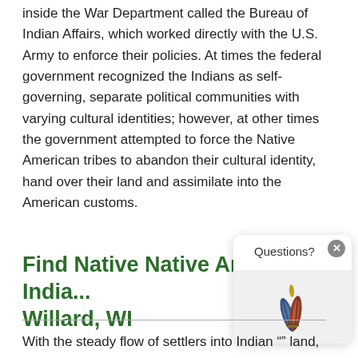inside the War Department called the Bureau of Indian Affairs, which worked directly with the U.S. Army to enforce their policies. At times the federal government recognized the Indians as self-governing, separate political communities with varying cultural identities; however, at other times the government attempted to force the Native American tribes to abandon their cultural identity, hand over their land and assimilate into the American customs.
Find Native American India... Willard, WI
With the steady flow of settlers into Indian "" land,